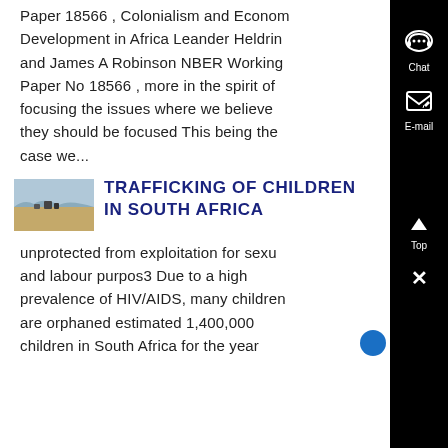Paper 18566 , Colonialism and Economic Development in Africa Leander Heldring and James A Robinson NBER Working Paper No 18566 , more in the spirit of focusing the issues where we believe they should be focused This being the case we...
[Figure (photo): Thumbnail image of a desert/arid landscape scene, likely South Africa]
TRAFFICKING OF CHILDREN IN SOUTH AFRICA
unprotected from exploitation for sexual and labour purpos3 Due to a high prevalence of HIV/AIDS, many children are orphaned estimated 1,400,000 children in South Africa for the year